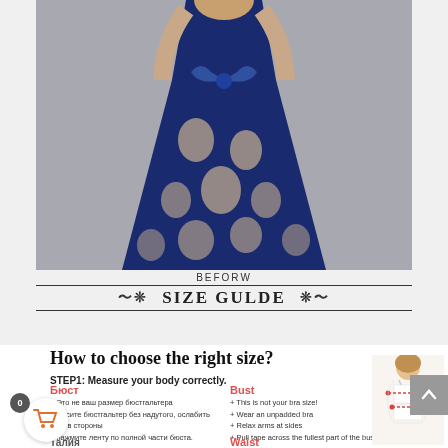[Figure (photo): Woman wearing a long floral blue and cream dress with a blue bow/sash at the waist, photographed against a grey background.]
BEFORW
SIZE GULDE
How to choose the right size?
STEP1: Measure your body correctly.
Бюст
+ Это не ваш размер бюстгальтера
Носите бюстгальтер без надутого, ослабить руки в стороны
нажмите ленту по полной части бюста.
Bust
+ This is not your bra size!
+ Wear an unpadded bra
+ Relax arms at sides
+ Pull tape across the fullest part of the bust.
Талия
Waist
+ Find the natural waist.
[Figure (illustration): Female body measurement illustration showing bust and waist measurement points with pink/red dotted lines.]